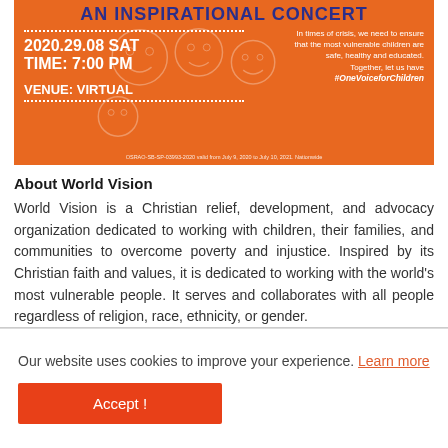[Figure (infographic): Orange promotional banner for 'An Inspirational Concert' by World Vision. Shows date 2020.29.08 SAT, TIME: 7:00 PM, VENUE: VIRTUAL with dotted lines. Right side has text: 'In times of crisis, we need to ensure that the most vulnerable children are safe, healthy and educated. Together, let us have #OneVoiceforChildren'. Background features line drawings of children's faces. Bottom has permit text: OSRAO-SB-SP-03993-2020 valid from July 9, 2020 to July 10, 2021. Nationwide.]
About World Vision
World Vision is a Christian relief, development, and advocacy organization dedicated to working with children, their families, and communities to overcome poverty and injustice. Inspired by its Christian faith and values, it is dedicated to working with the world's most vulnerable people. It serves and collaborates with all people regardless of religion, race, ethnicity, or gender.
Our website uses cookies to improve your experience. Learn more
Accept !